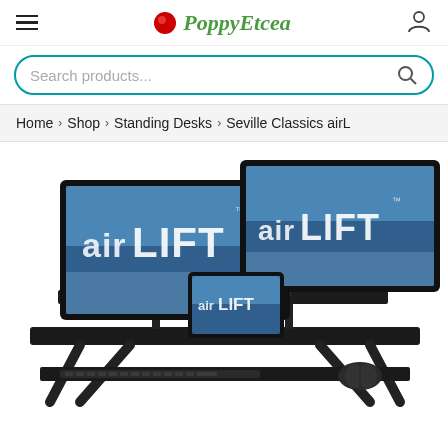PoppyEtcea — navigation header with hamburger menu, logo, and user icon
Search products...
Home › Shop › Standing Desks › Seville Classics airL
[Figure (photo): Product photo of a Seville Classics airLift standing desk converter in black, shown with two large monitors displaying 'airLIFT' branding and a tablet, plus a keyboard and mouse on the keyboard tray.]